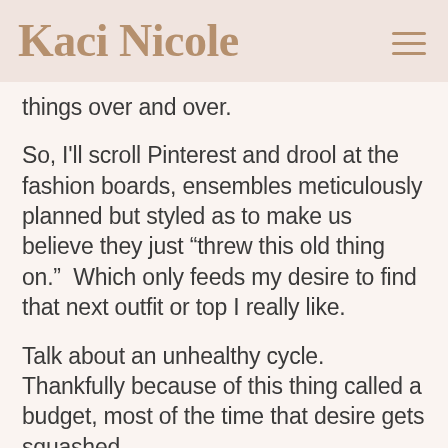Kaci Nicole
things over and over.
So, I'll scroll Pinterest and drool at the fashion boards, ensembles meticulously planned but styled as to make us believe they just “threw this old thing on.”  Which only feeds my desire to find that next outfit or top I really like.
Talk about an unhealthy cycle. Thankfully because of this thing called a budget, most of the time that desire gets squashed.
Still, this year I want to make a change. I’m not completely swearing off